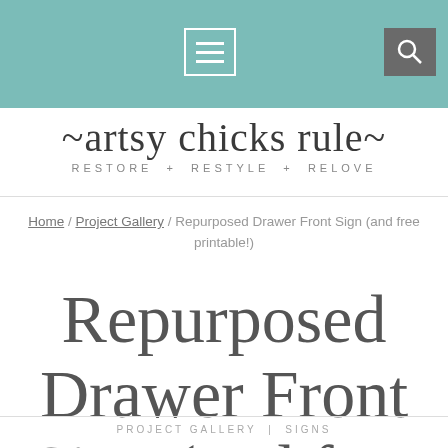artsy chicks rule — RESTORE + RESTYLE + RELOVE
[Figure (logo): artsy chicks rule script logo with tagline RESTORE + RESTYLE + RELOVE]
Home / Project Gallery / Repurposed Drawer Front Sign (and free printable!)
Repurposed Drawer Front Sign (and free printable!)
PROJECT GALLERY | SIGNS